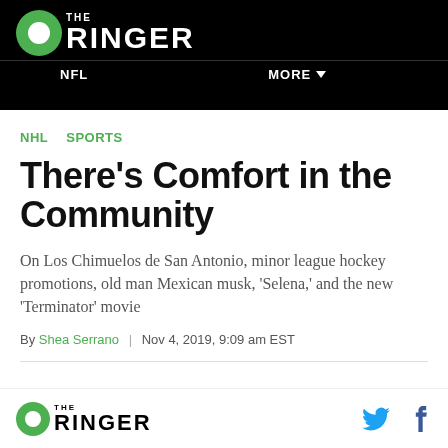THE RINGER | NFL | MORE
NHL  SPORTS
There's Comfort in the Community
On Los Chimuelos de San Antonio, minor league hockey promotions, old man Mexican musk, 'Selena,' and the new 'Terminator' movie
By Shea Serrano | Nov 4, 2019, 9:09 am EST
THE RINGER